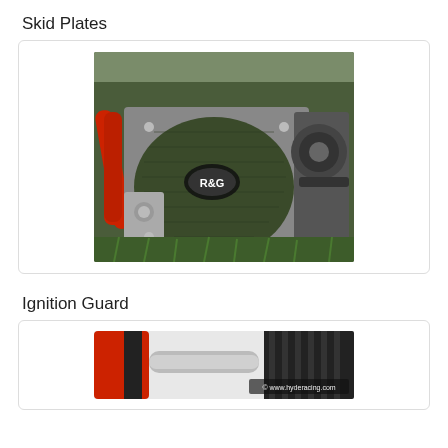Skid Plates
[Figure (photo): Close-up photo of a motorcycle engine with a dark carbon fiber engine cover bearing an R&G logo, red frame visible, chain and sprocket on right side, photographed outdoors on grass.]
Ignition Guard
[Figure (photo): Partial photo of a motorcycle showing red frame, silver exhaust pipe, and a dirt bike tire, watermarked with www.hyderacing.com.]